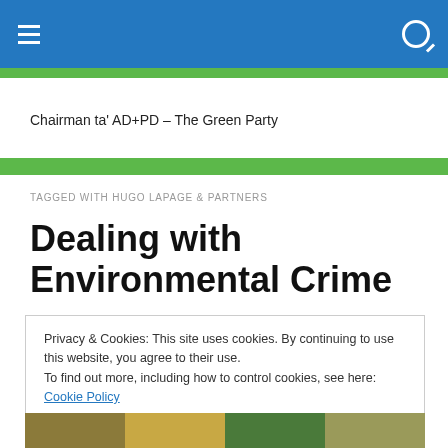Chairman ta' AD+PD – The Green Party
TAGGED WITH HUGO LAPAGE & PARTNERS
Dealing with Environmental Crime
Privacy & Cookies: This site uses cookies. By continuing to use this website, you agree to their use. To find out more, including how to control cookies, see here: Cookie Policy
[Figure (photo): Bottom strip showing currency/money images]